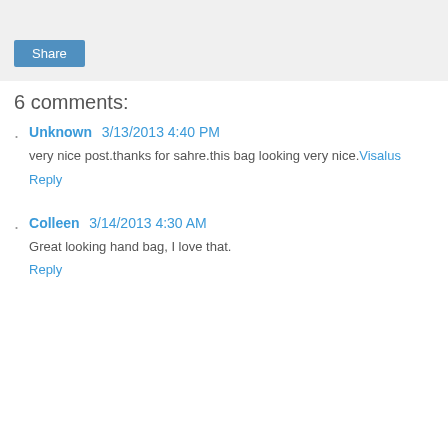[Figure (other): Gray share box area with a Share button]
6 comments:
Unknown 3/13/2013 4:40 PM — very nice post.thanks for sahre.this bag looking very nice.Visalus — Reply
Colleen 3/14/2013 4:30 AM — Great looking hand bag, I love that. — Reply